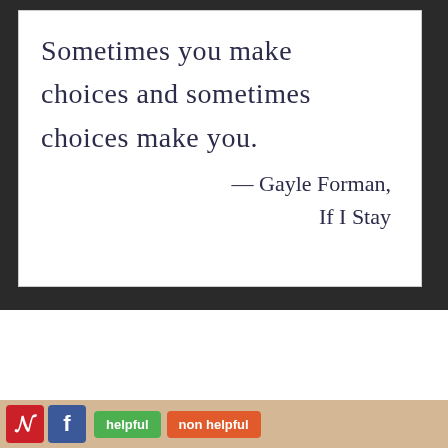[Figure (illustration): Handwritten quote on white card against dark background: 'Sometimes you make choices and sometimes choices make you. — Gayle Forman, If I Stay']
Sometimes you make choices and sometimes choices make you. — Gayle Forman, If I Stay